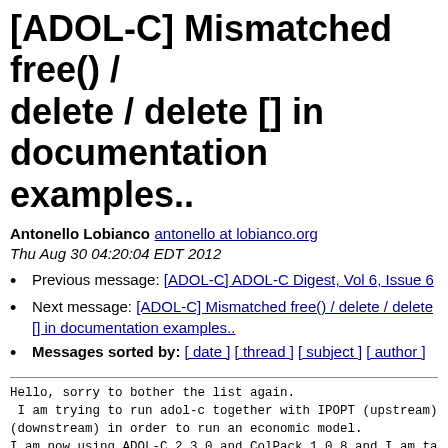[ADOL-C] Mismatched free() / delete / delete [] in documentation examples..
Antonello Lobianco antonello at lobianco.org
Thu Aug 30 04:20:04 EDT 2012
Previous message: [ADOL-C] ADOL-C Digest, Vol 6, Issue 6
Next message: [ADOL-C] Mismatched free() / delete / delete [] in documentation examples..
Messages sorted by: [ date ] [ thread ] [ subject ] [ author ]
Hello, sorry to bother the list again.
 I am trying to run adol-c together with IPOPT (upstream)
(downstream) in order to run an economic model.
I am now using ADOL-C 2.3.0 and ColPack 1.0.8 and I am ta
LuksanVlcek1_sparse as example for my model (from folder
ADOL-C-2.3.0/ADOL-C/examples/additional_examples/ipopt/Lu
As suggested by Assefaw Gebremedhin (ColPack, thank you)
modified the code in order to run it several times placin
generate_tapes() this->jacval=NULL and this->hessval=NULL